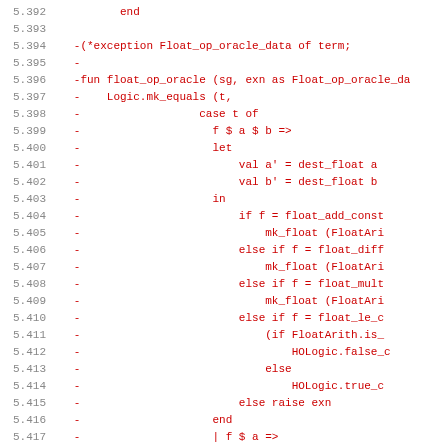[Figure (screenshot): Source code diff view showing lines 5.392 to 5.423 of an OCaml file. Line numbers are in gray on the left. Code lines are shown in red (deleted lines in a diff), with a monospace font. The code shows an exception handler and a function float_op_oracle dealing with floating point arithmetic operations.]